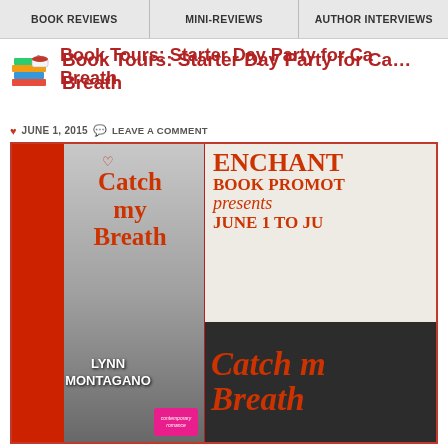BOOK REVIEWS | MINI-REVIEWS | AUTHOR INTERVIEWS
Book Tours: Starter Day Party for Catch My Breath
JUNE 1, 2015 · LEAVE A COMMENT
[Figure (illustration): Book tour promotional banner with book cover of 'Catch My Breath' by Lynn Montagano on the left (black and white photo of man with woman in red dress, orange title text), and Enchanted Book Promotions presents text with date June 1 to June on the right, plus a dark panel at bottom with cursive 'Catch my Breath' in orange.]